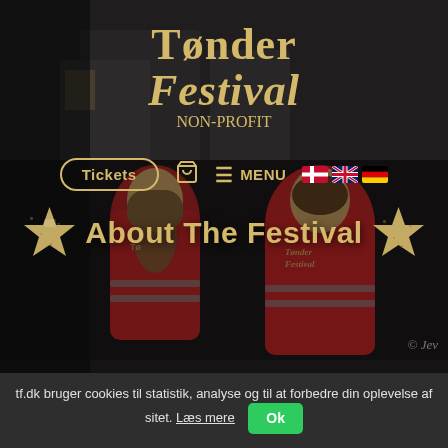[Figure (photo): Festival background photo showing two people in red Tønder Festival vests from behind, with a stage and crowd in the background. Dark moody atmosphere.]
Tønder Festival NON-PROFIT
Tickets | basket icon | MENU | Danish flag | UK flag | German flag
About The Festival
tf.dk bruger cookies til statistik, analyse og til at forbedre din oplevelse af sitet. Læs mere  Ok